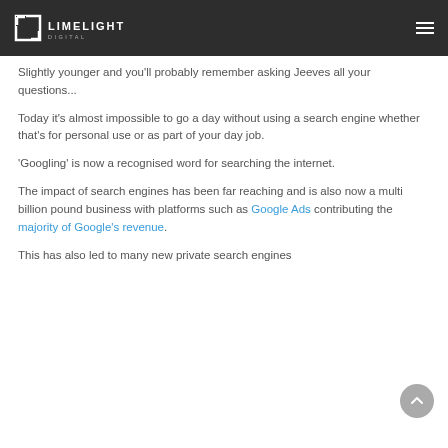LIMELIGHT DIGITAL
Slightly younger and you'll probably remember asking Jeeves all your questions...
Today it's almost impossible to go a day without using a search engine whether that's for personal use or as part of your day job.
'Googling' is now a recognised word for searching the internet.
The impact of search engines has been far reaching and is also now a multi billion pound business with platforms such as Google Ads contributing the majority of Google's revenue.
This has also led to many new private search engines